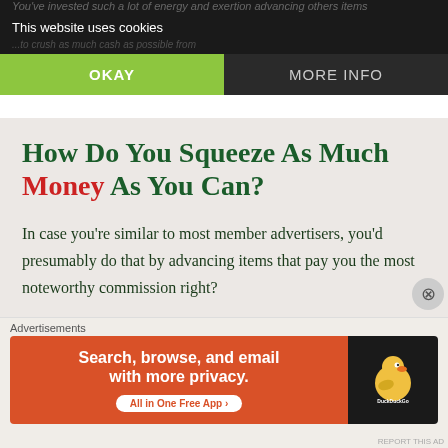You've invested such a lot of energy and exertion advancing others items
This website uses cookies
...to crush as much cash as possible from
OKAY
MORE INFO
How Do You Squeeze As Much Money As You Can?
In case you're similar to most member advertisers, you'd presumably do that by advancing items that pay you the most noteworthy commission right?
Nonetheless, that is not the most intelligent thing to do.
Advertisements
[Figure (screenshot): DuckDuckGo advertisement banner: orange left panel with 'Search, browse, and email with more privacy. All in One Free App' and black right panel with DuckDuckGo duck logo]